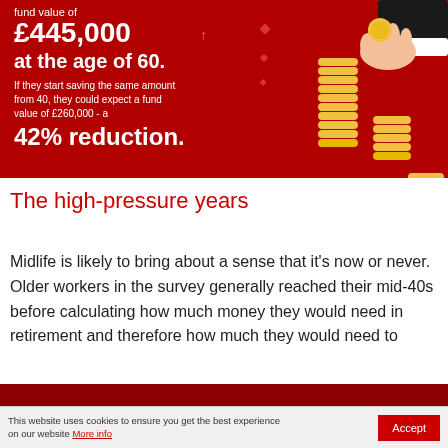[Figure (infographic): Red infographic banner showing fund value of £445,000 at age 60 vs £260,000 starting at 40 (42% reduction), with coin stack illustration and hand dropping coin]
The high-pressure years
Midlife is likely to bring about a sense that it's now or never. Older workers in the survey generally reached their mid-40s before calculating how much money they would need in retirement and therefore how much they would need to
This website uses cookies to ensure you get the best experience on our website More info  Accept